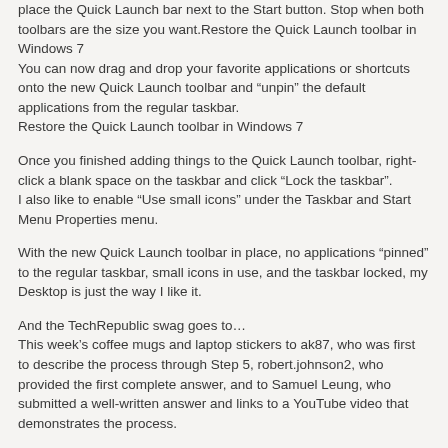place the Quick Launch bar next to the Start button. Stop when both toolbars are the size you want.Restore the Quick Launch toolbar in Windows 7
You can now drag and drop your favorite applications or shortcuts onto the new Quick Launch toolbar and “unpin” the default applications from the regular taskbar.
Restore the Quick Launch toolbar in Windows 7
Once you finished adding things to the Quick Launch toolbar, right-click a blank space on the taskbar and click “Lock the taskbar”.
I also like to enable “Use small icons” under the Taskbar and Start Menu Properties menu.
With the new Quick Launch toolbar in place, no applications “pinned” to the regular taskbar, small icons in use, and the taskbar locked, my Desktop is just the way I like it.
And the TechRepublic swag goes to…
This week’s coffee mugs and laptop stickers to ak87, who was first to describe the process through Step 5, robert.johnson2, who provided the first complete answer, and to Samuel Leung, who submitted a well-written answer and links to a YouTube video that demonstrates the process.
Thanks to everyone who submitted an answer.